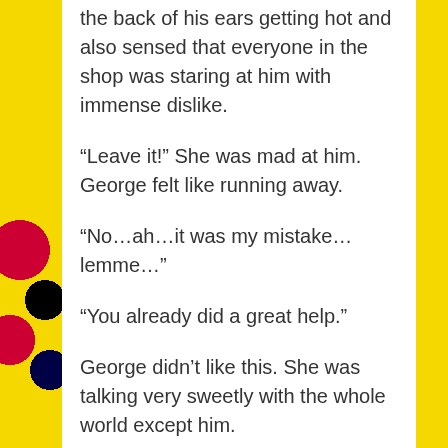the back of his ears getting hot and also sensed that everyone in the shop was staring at him with immense dislike.
“Leave it!” She was mad at him. George felt like running away.
“No…ah…it was my mistake…lemme…”
“You already did a great help.”
George didn’t like this. She was talking very sweetly with the whole world except him.
She picked up all the cupcakes and went behind the